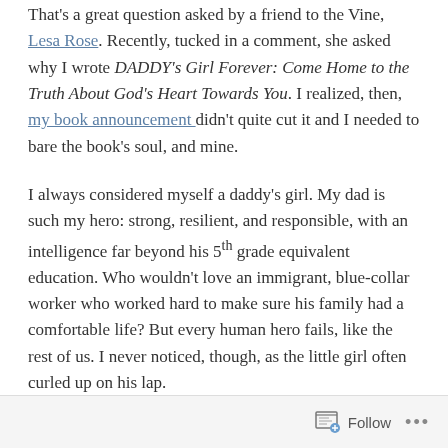That's a great question asked by a friend to the Vine, Lesa Rose. Recently, tucked in a comment, she asked why I wrote DADDY's Girl Forever: Come Home to the Truth About God's Heart Towards You. I realized, then, my book announcement didn't quite cut it and I needed to bare the book's soul, and mine.
I always considered myself a daddy's girl. My dad is such my hero: strong, resilient, and responsible, with an intelligence far beyond his 5th grade equivalent education. Who wouldn't love an immigrant, blue-collar worker who worked hard to make sure his family had a comfortable life? But every human hero fails, like the rest of us. I never noticed, though, as the little girl often curled up on his lap.
Follow ···